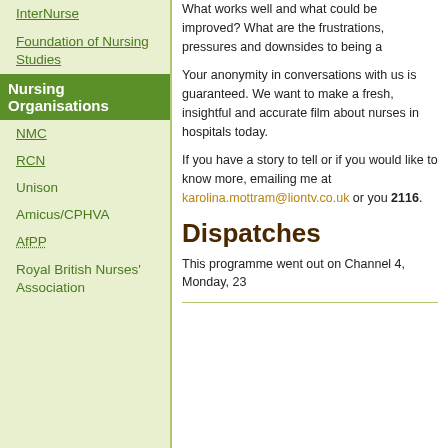InterNurse
Foundation of Nursing Studies
Nursing Organisations
NMC
RCN
Unison
Amicus/CPHVA
AfPP
Royal British Nurses' Association
What works well and what could be improved? What are the frustrations, pressures and downsides to being a
Your anonymity in conversations with us is guaranteed. We want to make a fresh, insightful and accurate film about nurses in hospitals today.
If you have a story to tell or if you would like to know more, emailing me at karolina.mottram@liontv.co.uk or you 2116.
Dispatches
This programme went out on Channel 4, Monday, 23